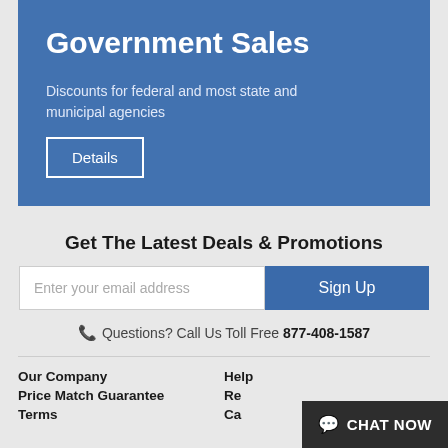Government Sales
Discounts for federal and most state and municipal agencies
Details
Get The Latest Deals & Promotions
Enter your email address
Sign Up
Questions? Call Us Toll Free 877-408-1587
Our Company
Price Match Guarantee
Terms
Help
Returns
Careers
CHAT NOW